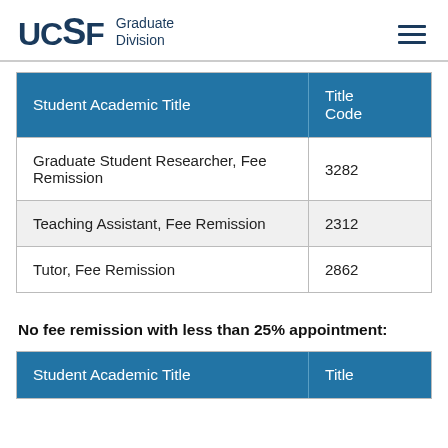UCSF Graduate Division
| Student Academic Title | Title Code |
| --- | --- |
| Graduate Student Researcher, Fee Remission | 3282 |
| Teaching Assistant, Fee Remission | 2312 |
| Tutor, Fee Remission | 2862 |
No fee remission with less than 25% appointment:
| Student Academic Title | Title |
| --- | --- |